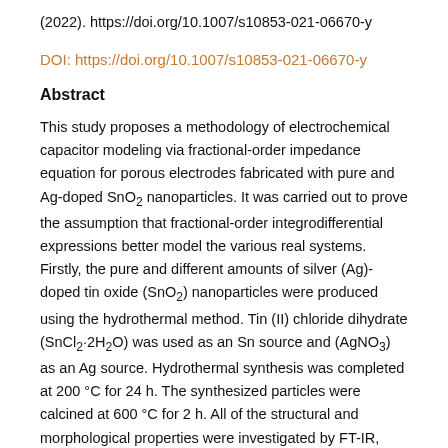(2022). https://doi.org/10.1007/s10853-021-06670-y
DOI: https://doi.org/10.1007/s10853-021-06670-y
Abstract
This study proposes a methodology of electrochemical capacitor modeling via fractional-order impedance equation for porous electrodes fabricated with pure and Ag-doped SnO2 nanoparticles. It was carried out to prove the assumption that fractional-order integrodifferential expressions better model the various real systems. Firstly, the pure and different amounts of silver (Ag)-doped tin oxide (SnO2) nanoparticles were produced using the hydrothermal method. Tin (II) chloride dihydrate (SnCl2·2H2O) was used as an Sn source and (AgNO3) as an Ag source. Hydrothermal synthesis was completed at 200 °C for 24 h. The synthesized particles were calcined at 600 °C for 2 h. All of the structural and morphological properties were investigated by FT-IR, XRD, FE-SEM, and EDX. It has been observed that the hydrothermal method successfully produced nano-SnO2 particles without and with Ag dopant. As a result of the applied procedure, the structural properties of